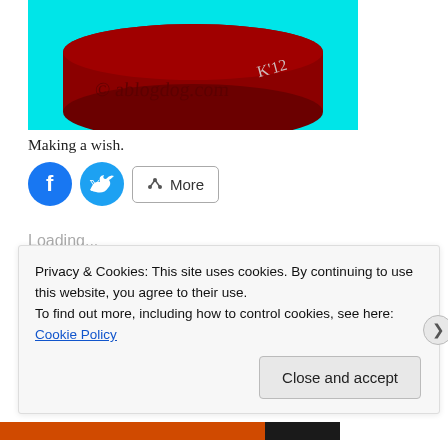[Figure (illustration): Illustration of a red cylindrical object (like a hockey puck or bowl) on a cyan background with text 'ablogdog.com' and 'K'12' written in dark red]
Making a wish.
[Figure (infographic): Social sharing buttons: Facebook (blue circle), Twitter (blue circle), and a More button with share icon]
Loading...
Privacy & Cookies: This site uses cookies. By continuing to use this website, you agree to their use.
To find out more, including how to control cookies, see here: Cookie Policy
Close and accept